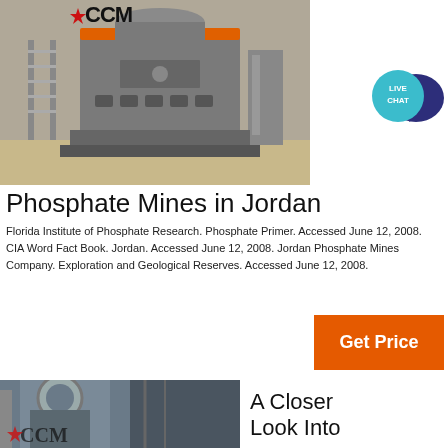[Figure (photo): Industrial mining machine (crusher) with CCM logo and red star, gray machinery with orange band, stairs and structural components visible.]
[Figure (illustration): Live Chat speech bubble icon — teal circle with 'LIVE CHAT' text and dark blue speech bubble shape.]
Phosphate Mines in Jordan
Florida Institute of Phosphate Research. Phosphate Primer. Accessed June 12, 2008. CIA Word Fact Book. Jordan. Accessed June 12, 2008. Jordan Phosphate Mines Company. Exploration and Geological Reserves. Accessed June 12, 2008.
[Figure (illustration): Get Price orange button]
[Figure (photo): Partial view of industrial machinery interior, pipes and metal structures, with partial CCM logo visible.]
A Closer Look Into